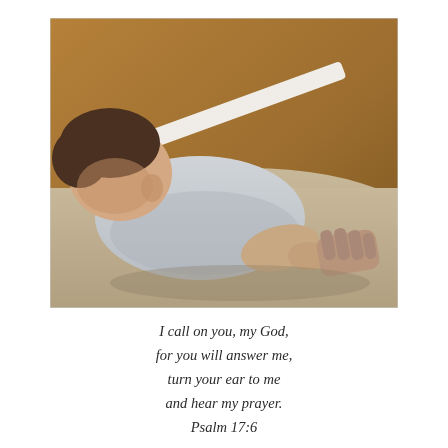[Figure (photo): A young child sleeping on a carpet floor, wearing a light gray shirt, holding hands with an adult. There is a wooden cabinet or door in the background with a white baseboard.]
I call on you, my God, for you will answer me, turn your ear to me and hear my prayer. Psalm 17:6